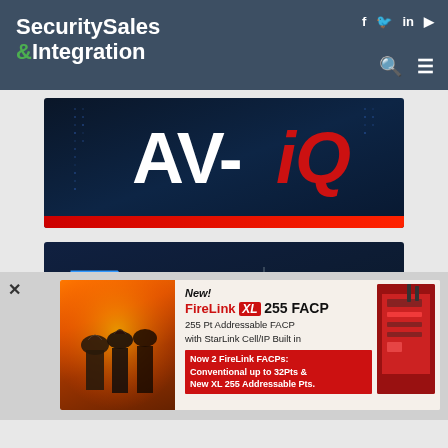Security Sales & Integration
[Figure (logo): AV-iQ advertisement banner with blue digital background and AV-iQ logo in white and red]
[Figure (logo): ISS (Intelligent Security Systems) advertisement banner with Intel Market Ready badge on dark blue background]
[Figure (advertisement): FireLink XL 255 FACP advertisement showing firefighters on left, product text and panel image on right. Text: New! FireLink XL 255 FACP - 255 Pt Addressable FACP with StarLink Cell/IP Built in - Now 2 FireLink FACPs: Conventional up to 32Pts & New XL 255 Addressable Pts.]